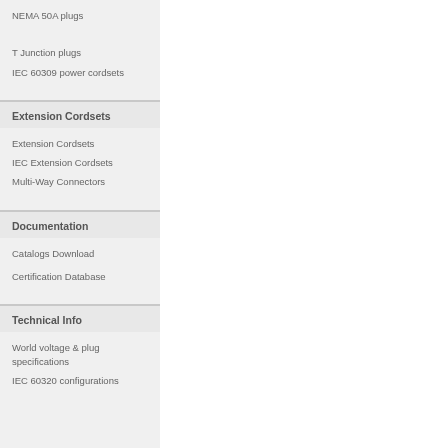NEMA 50A plugs
T Junction plugs
IEC 60309 power cordsets
Extension Cordsets
Extension Cordsets
IEC Extension Cordsets
Multi-Way Connectors
Documentation
Catalogs Download
Certification Database
Technical Info
World voltage & plug specifications
IEC 60320 configurations